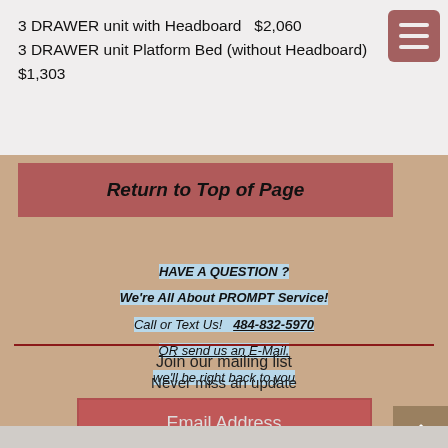3 DRAWER unit with Headboard  $2,060
3 DRAWER unit Platform Bed (without Headboard)  $1,303
Return to Top of Page
HAVE A QUESTION ?
We're All About PROMPT Service!
Call or Text Us!   484-832-5970
OR send us an E-Mail,
we'll be right back to you
Join our mailing list
Never miss an update
Email Address
Subscribe Now